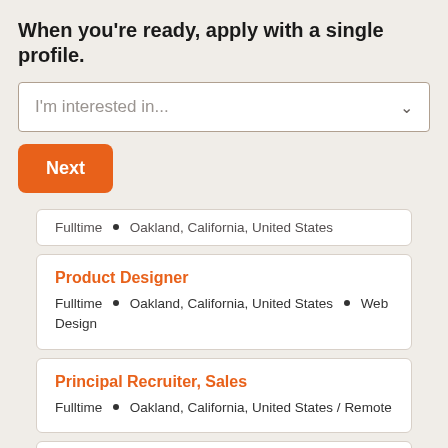When you're ready, apply with a single profile.
I'm interested in...
Next
Fulltime • Oakland, California, United States
Product Designer
Fulltime • Oakland, California, United States • Web Design
Principal Recruiter, Sales
Fulltime • Oakland, California, United States / Remote
Partner Engineer, Tech Alliances
Fulltime • Oakland, California, United States • Full Stack